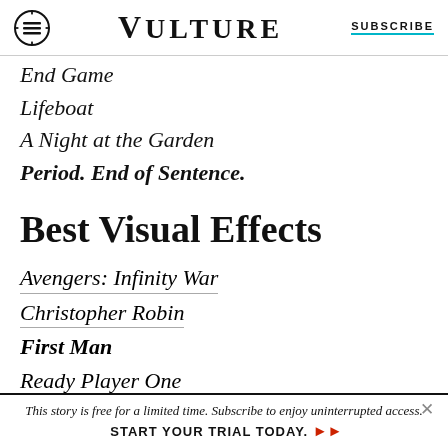VULTURE | SUBSCRIBE
End Game
Lifeboat
A Night at the Garden
Period. End of Sentence. [WINNER]
Best Visual Effects
Avengers: Infinity War
Christopher Robin
First Man [WINNER]
Ready Player One
Solo: A Star Wars Story
This story is free for a limited time. Subscribe to enjoy uninterrupted access. START YOUR TRIAL TODAY.